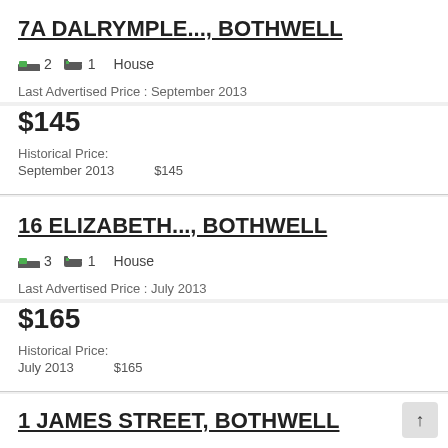7A DALRYMPLE..., BOTHWELL
2 bedrooms  1 bathroom  House
Last Advertised Price : September 2013
$145
Historical Price:
September 2013    $145
16 ELIZABETH..., BOTHWELL
3 bedrooms  1 bathroom  House
Last Advertised Price : July 2013
$165
Historical Price:
July 2013    $165
1 JAMES STREET, BOTHWELL
3 bedrooms  2 bathrooms  2 cars
Last Advertised Price : April 2013
$220...